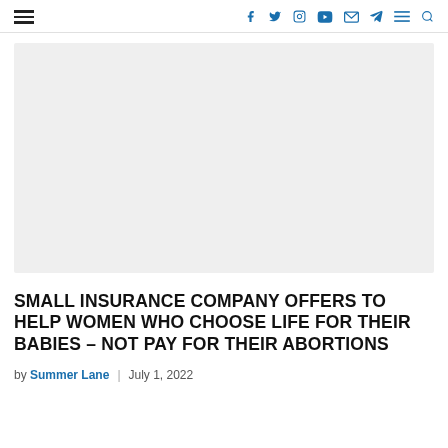navigation header with hamburger menu and social icons (facebook, twitter, instagram, youtube, email, telegram, menu, search)
[Figure (photo): Large light grey placeholder image area for article featured image]
SMALL INSURANCE COMPANY OFFERS TO HELP WOMEN WHO CHOOSE LIFE FOR THEIR BABIES – NOT PAY FOR THEIR ABORTIONS
by Summer Lane  |  July 1, 2022